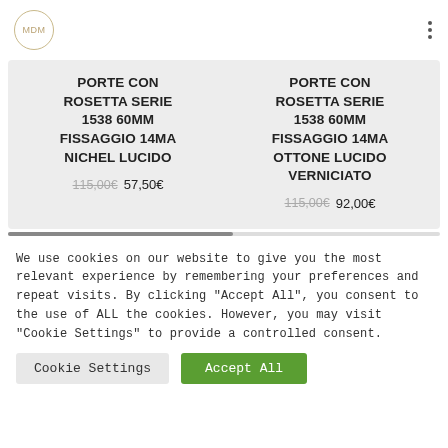[Figure (logo): MDM logo in a circular border with gold/tan color]
PORTE CON ROSETTA SERIE 1538 60MM FISSAGGIO 14MA NICHEL LUCIDO
115,00€ 57,50€
PORTE CON ROSETTA SERIE 1538 60MM FISSAGGIO 14MA OTTONE LUCIDO VERNICIATO
115,00€ 92,00€
We use cookies on our website to give you the most relevant experience by remembering your preferences and repeat visits. By clicking "Accept All", you consent to the use of ALL the cookies. However, you may visit "Cookie Settings" to provide a controlled consent.
Cookie Settings
Accept All